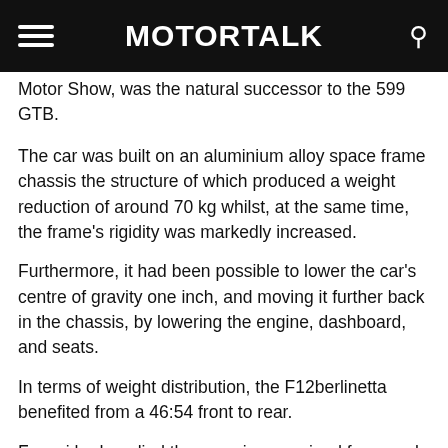MOTORTALK
Motor Show, was the natural successor to the 599 GTB.
The car was built on an aluminium alloy space frame chassis the structure of which produced a weight reduction of around 70 kg whilst, at the same time, the frame's rigidity was markedly increased.
Furthermore, it had been possible to lower the car's centre of gravity one inch, and moving it further back in the chassis, by lowering the engine, dashboard, and seats.
In terms of weight distribution, the F12berlinetta benefited from a 46:54 front to rear.
Ferrari had applied the experience gained from work on the 599XX racer to improve the aerodynamic characteristics of the F12 sports car.